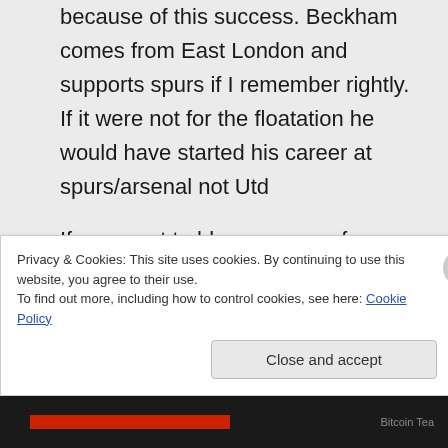because of this success. Beckham comes from East London and supports spurs if I remember rightly. If it were not for the floatation he would have started his career at spurs/arsenal not Utd
If you want to blame anyone for turning the game into a business like marketplace and the league into financial ‘haves’ and ‘have not’ then look to the club who started it all
Privacy & Cookies: This site uses cookies. By continuing to use this website, you agree to their use.
To find out more, including how to control cookies, see here: Cookie Policy